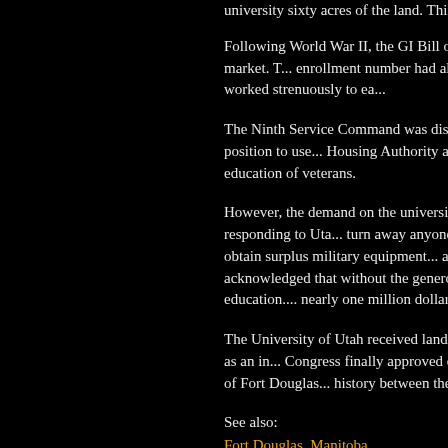university sixty acres of the land. Thirty-two more ac...
Following World War II, the GI Bill of Rights was passed... enrollment number had almost doubled between fall... the university, A. Ray Olpin, worked strenuously to ea...
The Ninth Service Command was dissolved in 1946, a... in regards to the fort put it in excellent position to use... Housing Authority allowed the use of military facilitie... facilities available for the education of veterans.
However, the demand on the university continued to b... or expanding. Finally the governor, responding to Uta... turn away anyone that wanted to attain an education... officials working to obtain surplus military equipment... as 299 acres of land. By 1947, President Olpin thanke... He acknowledged that without the generosity of the fe... denied the opportunity of completing their education... nearly one million dollars for the University of Utah t...
The University of Utah received land in 1962 for the... dismantlement of Fort Douglas, which served as an in... Congress finally approved closure of Fort Douglas as... completed in two years. The transfer of Fort Douglas... history between the state and federal agencies.
See also:
Fort Douglas, Manitoba